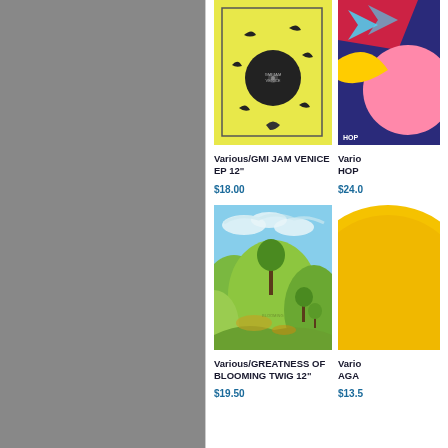[Figure (photo): Gray sidebar on left side of page]
[Figure (illustration): Album cover for Various/GMI JAM VENICE EP 12" - yellow background with vinyl record and abstract shapes]
Various/GMI JAM VENICE EP 12"
$18.00
[Figure (illustration): Partially visible album cover on right - colorful hip-hop style artwork, partially cropped]
Vario... HOP...
$24.0...
[Figure (illustration): Album cover for Various/GREATNESS OF BLOOMING TWIG 12" - painted landscape with green hills, trees and blue sky]
Various/GREATNESS OF BLOOMING TWIG 12"
$19.50
[Figure (illustration): Partially visible album cover on right - yellow/orange circular shape, partially cropped]
Vario... AGA...
$13.5...